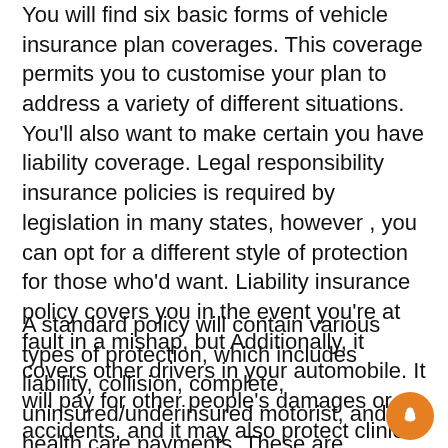You will find six basic forms of vehicle insurance plan coverages. This coverage permits you to customise your plan to address a variety of different situations. You'll also want to make certain you have liability coverage. Legal responsibility insurance policies is required by legislation in many states, however , you can opt for a different style of protection for those who'd want. Liability insurance policy covers you in the event you're at fault in a mishap, but Additionally, it covers other drivers in your automobile. It will pay for other people's damages or accidents, and it may also protect clinical payments.
A standard policy will contain various types of protection, which includes liability, collision, complete, uninsured/underinsured motorist, and health care payments. These are generally all crucial, and you ought to get ample of these. Some of these coverages may be required in some states, while others might not. To locate the finest auto insurance plan protection for your needs, take a look at web site for example Freeway Coverage. You will find a wide